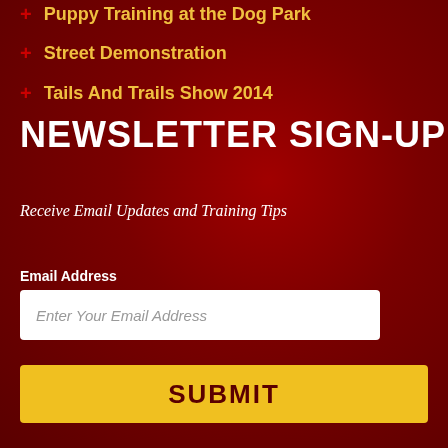Puppy Training at the Dog Park
Street Demonstration
Tails And Trails Show 2014
NEWSLETTER SIGN-UP
Receive Email Updates and Training Tips
Email Address
Enter Your Email Address
SUBMIT